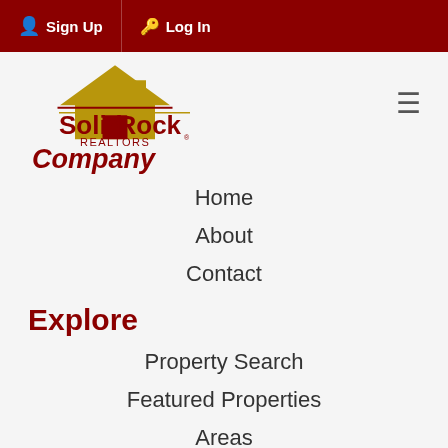Sign Up  Log In
[Figure (logo): Solid Rock Realtors logo with house icon and two-tone text]
Company
Home
About
Contact
Explore
Property Search
Featured Properties
Areas
Account